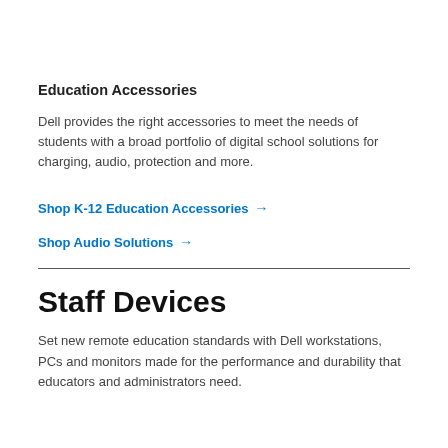Education Accessories
Dell provides the right accessories to meet the needs of students with a broad portfolio of digital school solutions for charging, audio, protection and more.
Shop K-12 Education Accessories →
Shop Audio Solutions →
Staff Devices
Set new remote education standards with Dell workstations, PCs and monitors made for the performance and durability that educators and administrators need.